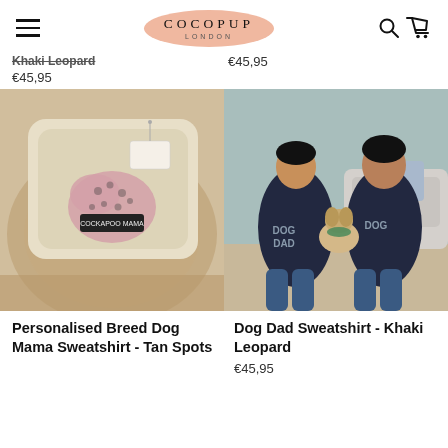COCOPUP LONDON
Khaki Leopard €45,95 €45,95
[Figure (photo): Folded tan sweatshirt with a pink leopard print heart patch and text 'Cockapoo Mama' on a woven basket background]
[Figure (photo): Two men sitting on the floor each wearing a dark navy Dog Dad sweatshirt with leopard print text, holding a small fluffy dog wearing a green bandana]
Personalised Breed Dog Mama Sweatshirt - Tan Spots
Dog Dad Sweatshirt - Khaki Leopard
€45,95